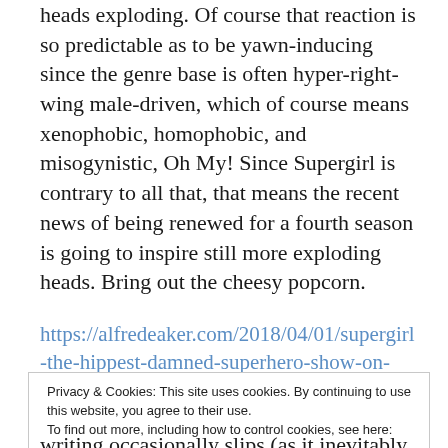heads exploding. Of course that reaction is so predictable as to be yawn-inducing since the genre base is often hyper-right-wing male-driven, which of course means xenophobic, homophobic, and misogynistic, Oh My! Since Supergirl is contrary to all that, that means the recent news of being renewed for a fourth season is going to inspire still more exploding heads. Bring out the cheesy popcorn.
https://alfredeaker.com/2018/04/01/supergirl-the-hippest-damned-superhero-show-on-
Privacy & Cookies: This site uses cookies. By continuing to use this website, you agree to their use.
To find out more, including how to control cookies, see here:
Cookie Policy
writing occasionally slips (as it inevitably will in any